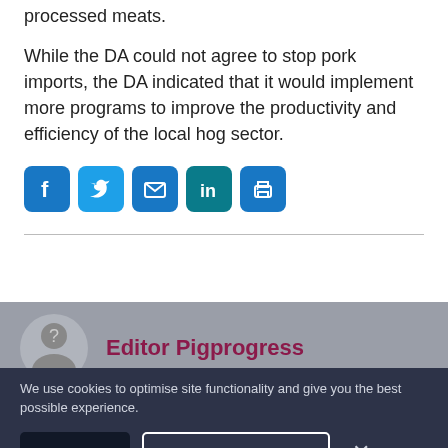processed meats.
While the DA could not agree to stop pork imports, the DA indicated that it would implement more programs to improve the productivity and efficiency of the local hog sector.
[Figure (infographic): Row of 5 social sharing icon buttons: Facebook (blue), Twitter (blue), Email (blue), LinkedIn (teal), Print (blue)]
[Figure (photo): Author avatar placeholder silhouette on grey background]
Editor Pigprogress
We use cookies to optimise site functionality and give you the best possible experience.
Accept
Cookie Preferences